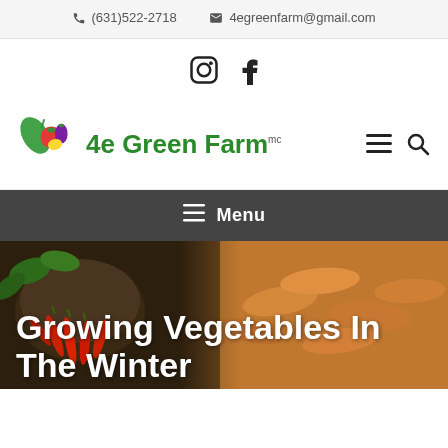(631)522-2718  4egreenfarm@gmail.com
[Figure (logo): Social media icons: Instagram and Facebook]
[Figure (logo): 4e Green Farm logo with vegetable graphics and green text reading '4e Green Farm (mc)', plus hamburger menu and search icons]
Menu
Growing Vegetables In The Winter